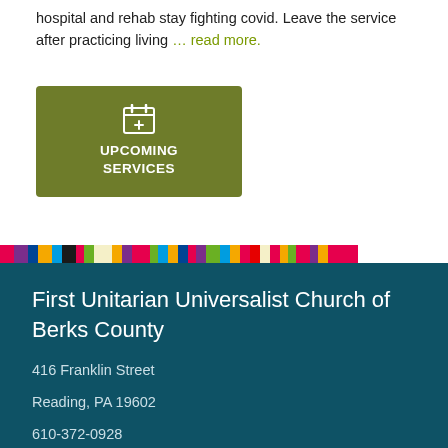hospital and rehab stay fighting covid. Leave the service after practicing living … read more.
[Figure (other): Green button with calendar icon labeled UPCOMING SERVICES]
[Figure (other): Colorful horizontal stripe bar with many colored segments]
First Unitarian Universalist Church of Berks County
416 Franklin Street
Reading, PA 19602
610-372-0928
Directions
Find Us on Facebook...